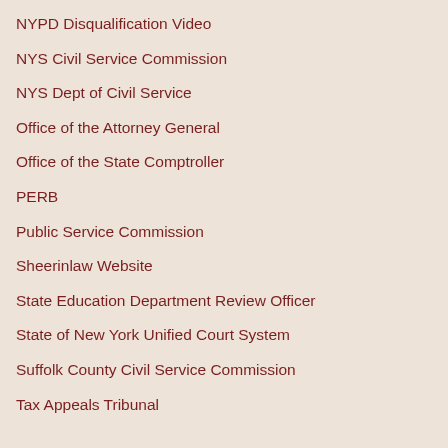NYPD Disqualification Video
NYS Civil Service Commission
NYS Dept of Civil Service
Office of the Attorney General
Office of the State Comptroller
PERB
Public Service Commission
Sheerinlaw Website
State Education Department Review Officer
State of New York Unified Court System
Suffolk County Civil Service Commission
Tax Appeals Tribunal